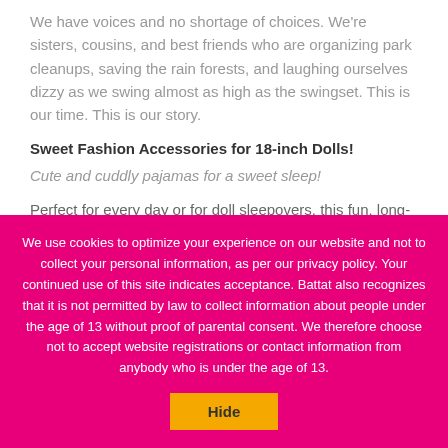We have voices and no shortage of choices. We're sisters, cousins, and best friends who are organizing park cleanups, saving the rain forests, and laughing ourselves dizzy as we swing almost as high as the swingset. This is our time. This is our story.
Sweet Fashion Accessories for 18-inch Dolls!
Cute and cuddly pajamas for a sweet sleep!
Perfect for every day or for doll sleepovers, this fun, long-sleeved pink pajama onesie is covered in a white star print. Help your doll
We use cookies to optimize your experience on our website and not to collect your personal information, as per our privacy policy. Your continued use of this site indicates acceptance. Battat also recognizes that it is not permitted by law to collect information about people under the age of 13 without proof of parental consent. We therefore choose not to accept website registrations or contact information from anybody who is under the age of 13.
Hide